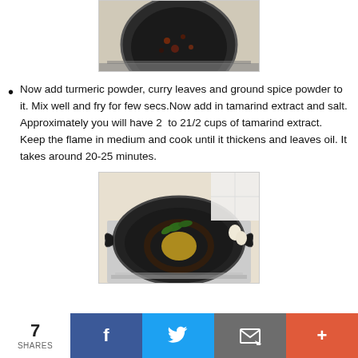[Figure (photo): Top portion of a black wok/pan on a stove with spices being cooked, viewed from above]
Now add turmeric powder, curry leaves and ground spice powder to it. Mix well and fry for few secs.Now add in tamarind extract and salt. Approximately you will have 2  to 21/2 cups of tamarind extract. Keep the flame in medium and cook until it thickens and leaves oil. It takes around 20-25 minutes.
[Figure (photo): Black wok/kadai on a gas stove with turmeric powder and curry leaves added, viewed from above]
7 SHARES  [Facebook] [Twitter] [Email] [More]